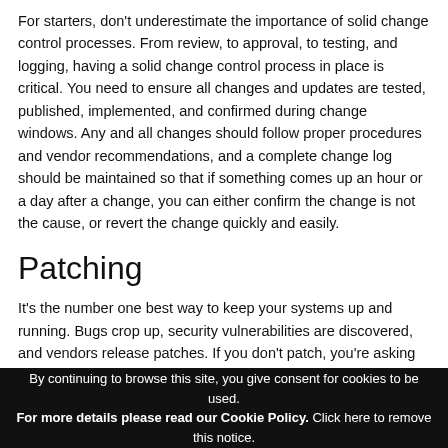For starters, don't underestimate the importance of solid change control processes. From review, to approval, to testing, and logging, having a solid change control process in place is critical. You need to ensure all changes and updates are tested, published, implemented, and confirmed during change windows. Any and all changes should follow proper procedures and vendor recommendations, and a complete change log should be maintained so that if something comes up an hour or a day after a change, you can either confirm the change is not the cause, or revert the change quickly and easily.
Patching
It's the number one best way to keep your systems up and running. Bugs crop up, security vulnerabilities are discovered, and vendors release patches. If you don't patch, you're asking for trouble. That said, if you don't
By continuing to browse this site, you give consent for cookies to be used. For more details please read our Cookie Policy. Click here to remove this notice.